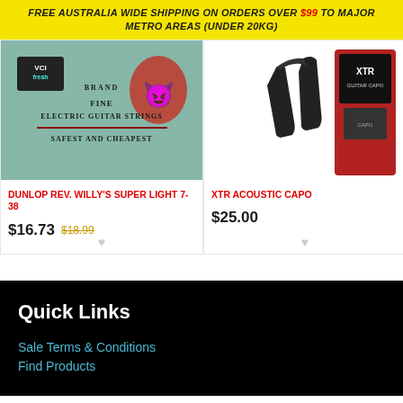FREE AUSTRALIA WIDE SHIPPING ON ORDERS OVER $99 TO MAJOR METRO AREAS (UNDER 20KG)
[Figure (photo): Dunlop Rev. Willy's electric guitar strings packet with teal/green background and devil face graphic. Text: VCI FRESH BRAND FINE ELECTRIC GUITAR STRINGS SAFEST AND CHEAPEST]
DUNLOP REV. WILLY'S SUPER LIGHT 7-38
$16.73  $18.99
[Figure (photo): XTR Acoustic Capo product image showing a black capo clamp tool on white background alongside XTR branded packaging on red background]
XTR ACOUSTIC CAPO
$25.00
Quick Links
Sale Terms & Conditions
Find Products